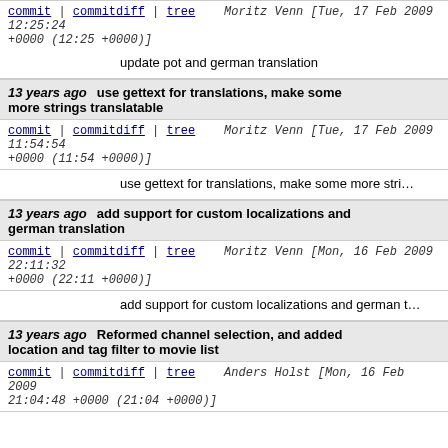commit | commitdiff | tree   Moritz Venn [Tue, 17 Feb 2009 12:25:24 +0000 (12:25 +0000)]
update pot and german translation
13 years ago   use gettext for translations, make some more strings translatable
commit | commitdiff | tree   Moritz Venn [Tue, 17 Feb 2009 11:54:54 +0000 (11:54 +0000)]
use gettext for translations, make some more str
13 years ago   add support for custom localizations and german translation
commit | commitdiff | tree   Moritz Venn [Mon, 16 Feb 2009 22:11:32 +0000 (22:11 +0000)]
add support for custom localizations and german t
13 years ago   Reformed channel selection, and added location and tag filter to movie list
commit | commitdiff | tree   Anders Holst [Mon, 16 Feb 2009 21:04:48 +0000 (21:04 +0000)]